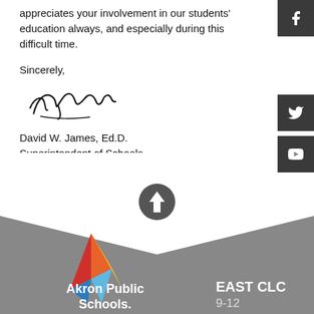appreciates your involvement in our students' education always, and especially during this difficult time.
Sincerely,
[Figure (other): Handwritten signature of David W. James]
David W. James, Ed.D.
Superintendent of Schools
[Figure (infographic): Gray footer area with white chevron/arrow shape, up arrow icon, Akron Public Schools logo with colorful triangle, school name, and EAST CLC 9-12 label]
Akron Public Schools.
EAST CLC
9-12